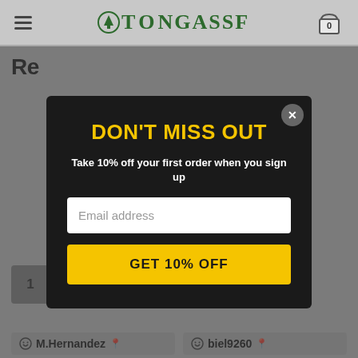TONGASSF
Re...
[Figure (screenshot): Modal popup with dark background showing DON'T MISS OUT promotion. Contains headline, subtext, email input field, and GET 10% OFF button with close X button.]
DON'T MISS OUT
Take 10% off your first order when you sign up
Email address
GET 10% OFF
1
2
...
5
M.Hernandez
biel9260